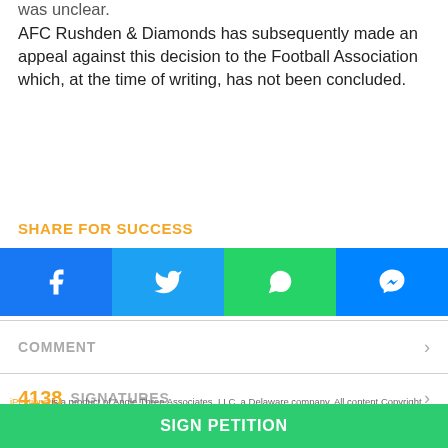was unclear.
AFC Rushden & Diamonds has subsequently made an appeal against this decision to the Football Association which, at the time of writing, has not been concluded.
SHARE FOR SUCCESS
[Figure (other): Social share buttons: Facebook, Twitter, WhatsApp, Messenger]
COMMENT
4138 SIGNATURES
iPetitions is a product of Angle Three Associates, LLC, a Delaware company. All content Copyright
SIGN PETITION